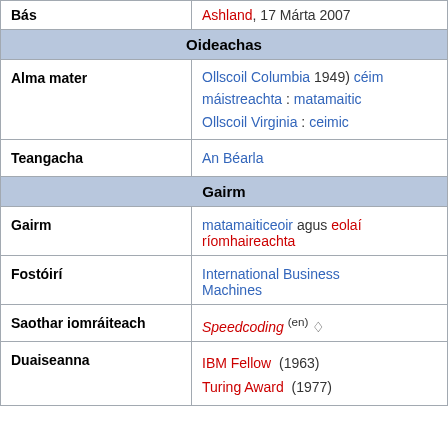| Bás | Ashland, 17 Márta 2007 |
| Oideachas |  |
| Alma mater | Ollscoil Columbia 1949) céim máistreachta : matamaitic Ollscoil Virginia : ceimic |
| Teangacha | An Béarla |
| Gairm |  |
| Gairm | matamaiticeoir agus eolaí ríomhaireachta |
| Fostóirí | International Business Machines |
| Saothar iomráiteach | Speedcoding (en) |
| Duaiseanna | IBM Fellow (1963) Turing Award (1977) |